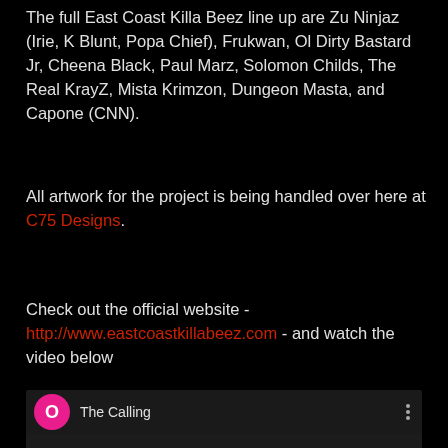The full East Coast Killa Beez line up are Zu Ninjaz (Irie, K Blunt, Popa Chief), Frukwan, Ol Dirty Bastard Jr, Cheena Black, Paul Marz, Solomon Childs, The Real KrayZ, Mista Krimzon, Dungeon Masta, and Capone (CNN).
All artwork for the project is being handled over here at C75 Designs.
Check out the official website - http://www.eastcoastkillabeez.com - and watch the video below
[Figure (screenshot): YouTube video embed showing 'The Calling' with a pink/magenta circular avatar with letter O, a dark video thumbnail with a play button and vevo watermark]